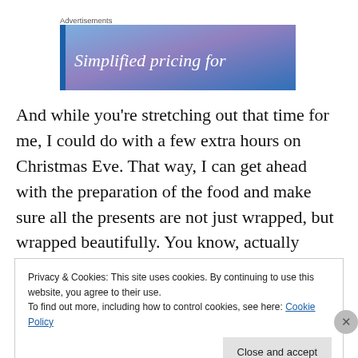Advertisements
[Figure (illustration): Advertisement banner with blue-purple gradient background and white italic text reading 'Simplified pricing for']
And while you’re stretching out that time for me, I could do with a few extra hours on Christmas Eve. That way, I can get ahead with the preparation of the food and make sure all the presents are not just wrapped, but wrapped beautifully. You know, actually wearing all those pretty
Privacy & Cookies: This site uses cookies. By continuing to use this website, you agree to their use.
To find out more, including how to control cookies, see here: Cookie Policy
Close and accept